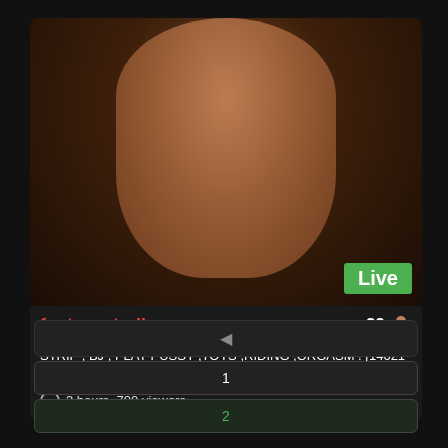[Figure (screenshot): Live webcam stream card showing a woman in a blue bra top with a 'Live' green badge overlay]
fantasystudiox
29
STRIP , BJ , PLAY PUSSY ,TOYS ,RIDING ,ORGASM ! [14021 tokens remaining]
3 hours, 700 viewers
◄
1
2